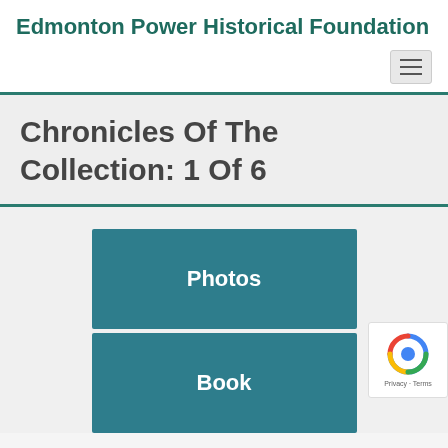Edmonton Power Historical Foundation
Chronicles Of The Collection: 1 Of 6
Photos
Book